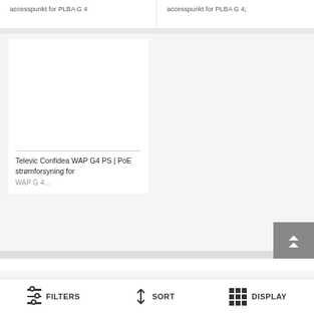accesspunkt for PLBA G 4
accesspunkt for PLBA G 4;
[Figure (photo): Product image area - white blank image for Televic Confidea WAP G4 PS product]
Televic Confidea WAP G4 PS | PoE strømforsyning for WAP G4
FILTERS  SORT  DISPLAY